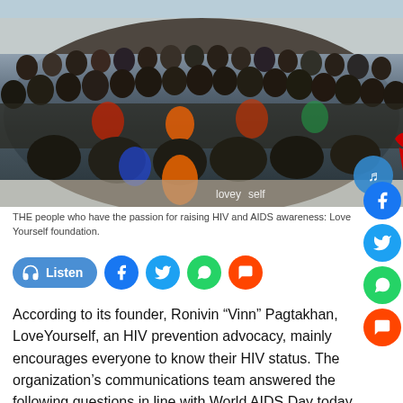[Figure (photo): Group photo of many people posing together outdoors on a rooftop or terrace, associated with the Love Yourself foundation for HIV and AIDS awareness.]
THE people who have the passion for raising HIV and AIDS awareness: Love Yourself foundation.
[Figure (infographic): Social sharing buttons: Listen (audio), Facebook, Twitter, WhatsApp, Comment]
According to its founder, Ronivin “Vinn” Pagtakhan, LoveYourself, an HIV prevention advocacy, mainly encourages everyone to know their HIV status. The organization’s communications team answered the following questions in line with World AIDS Day today, 1 December.